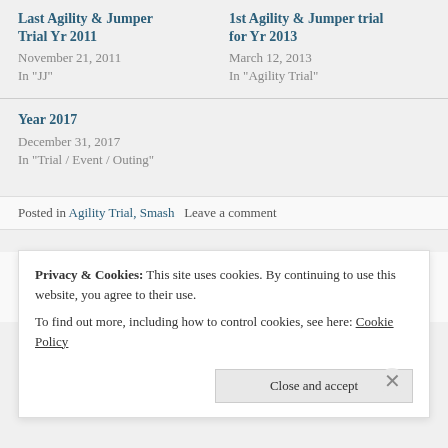Last Agility & Jumper Trial Yr 2011 / November 21, 2011 / In "JJ"
1st Agility & Jumper trial for Yr 2013 / March 12, 2013 / In "Agility Trial"
Year 2017 / December 31, 2017 / In "Trial / Event / Outing"
Posted in Agility Trial, Smash   Leave a comment
June SKC Obedience / Agility /
JFF Obedience
Privacy & Cookies: This site uses cookies. By continuing to use this website, you agree to their use. To find out more, including how to control cookies, see here: Cookie Policy
Close and accept